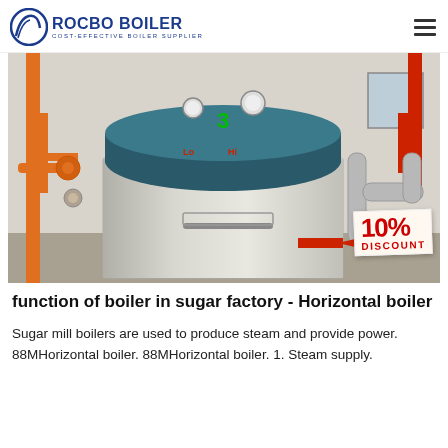ROCBO BOILER - COST-EFFECTIVE BOILER SUPPLIER
[Figure (photo): Industrial horizontal boiler in a factory setting. A large stainless steel horizontal boiler with teal/dark blue top casing, orange structural pipes on the left, silver exhaust pipes on the right. A '3' is visible on the boiler top. A 10% DISCOUNT badge is shown in the lower right corner of the image.]
function of boiler in sugar factory - Horizontal boiler
Sugar mill boilers are used to produce steam and provide power. 88MHorizontal boiler. 88MHorizontal boiler. 1. Steam supply.